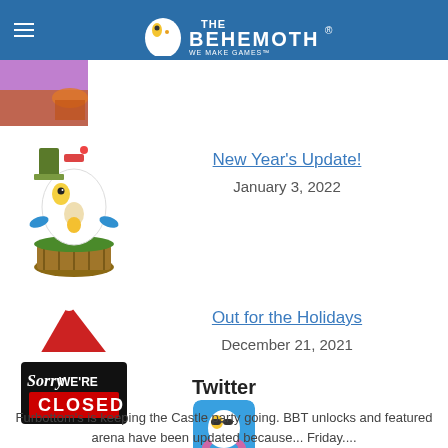The Behemoth — We make games!
[Figure (screenshot): Purple/orange thumbnail image strip at top left]
[Figure (illustration): Behemoth mascot character (white egg-shaped creature) sitting in a wooden tub with items, wearing holiday accessories]
New Year's Update!
January 3, 2022
[Figure (illustration): Sorry We're Closed sign with a red Santa hat on top]
Out for the Holidays
December 21, 2021
Twitter
[Figure (illustration): Behemoth mascot wearing sunglasses and a pink floatie ring, Twitter avatar image]
Furbottom's is keeping the Castle party going. BBT unlocks and featured arena have been updated because... Friday.... A message to the BTT CRSTLE PARTY from Animal#